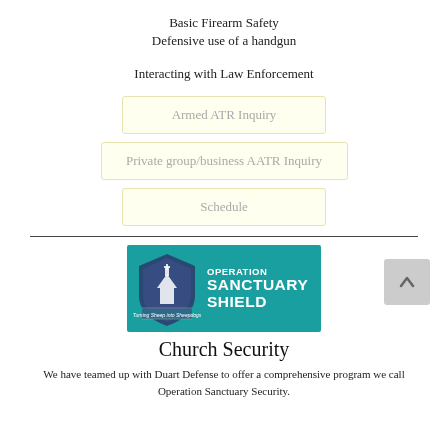Basic Firearm Safety
Defensive use of a handgun
Interacting with Law Enforcement
Armed ATR Inquiry
Private group/business AATR Inquiry
Schedule
[Figure (logo): Operation Sanctuary Shield logo — teal background with a shield icon and bold white text reading OPERATION SANCTUARY SHIELD]
Church Security
We have teamed up with Duart Defense to offer a comprehensive program we call Operation Sanctuary Security.